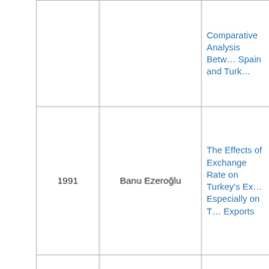| Year | Author | Title |
| --- | --- | --- |
|  |  | Comparative Analysis Between Spain and Turk... |
| 1991 | Banu Ezeroğlu | The Effects of Exchange Rate on Turkey's Ex... Especially on T... Exports |
| 1991 | Oya Erdil Ciğerim | Changing Patt... in Internationali... of Capital: Multinational... From Develop... Countries Wit... Specific Refe... Turkish Multinational... |
|  |  | Ottoman Tea... of Modern... |